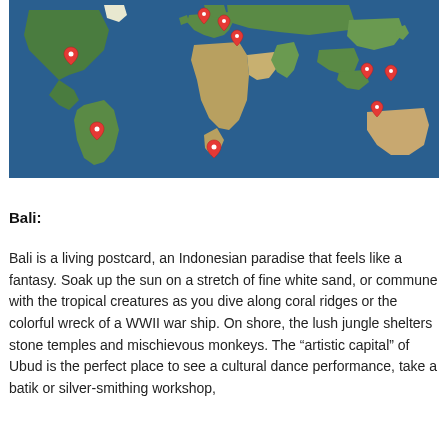[Figure (map): World map with red location pins marking various destinations across North America, South America, Europe, Africa, and Asia/Southeast Asia regions.]
Bali:
Bali is a living postcard, an Indonesian paradise that feels like a fantasy. Soak up the sun on a stretch of fine white sand, or commune with the tropical creatures as you dive along coral ridges or the colorful wreck of a WWII war ship. On shore, the lush jungle shelters stone temples and mischievous monkeys. The “artistic capital” of Ubud is the perfect place to see a cultural dance performance, take a batik or silver-smithing workshop,